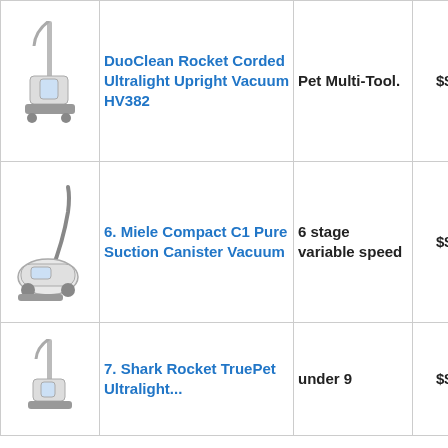| Image | Product Name | Feature | Price |
| --- | --- | --- | --- |
| [vacuum image] | DuoClean Rocket Corded Ultralight Upright Vacuum HV382 | Pet Multi-Tool. | $$$ |
| [vacuum image] | 6. Miele Compact C1 Pure Suction Canister Vacuum | 6 stage variable speed | $$$ |
| [vacuum image] | 7. Shark Rocket TruePet Ultralight... | under 9 | $$$ |